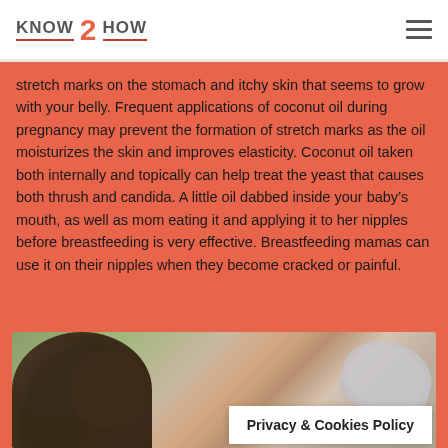KNOW 2 HOW
stretch marks on the stomach and itchy skin that seems to grow with your belly. Frequent applications of coconut oil during pregnancy may prevent the formation of stretch marks as the oil moisturizes the skin and improves elasticity. Coconut oil taken both internally and topically can help treat the yeast that causes both thrush and candida. A little oil dabbed inside your baby's mouth, as well as mom eating it and applying it to her nipples before breastfeeding is very effective. Breastfeeding mamas can use it on their nipples when they become cracked or painful.
[Figure (photo): A mother breastfeeding a baby, with decorative angel wings in the background. A 'Privacy & Cookies Policy' banner overlaid on the lower right of the image.]